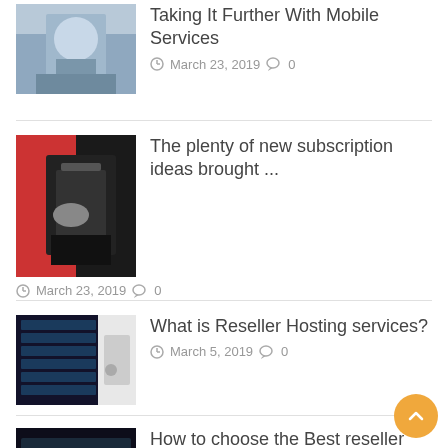[Figure (photo): Person sitting outdoors holding a mobile phone, partial view at top]
Taking It Further With Mobile Services
March 23, 2019  0
[Figure (photo): Hands holding a smartphone, wearing red clothing, shopping context]
The plenty of new subscription ideas brought ...
March 23, 2019  0
[Figure (photo): Server room with racks and a person standing nearby]
What is Reseller Hosting services?
March 5, 2019  0
[Figure (photo): Server/networking hardware with LED lights]
How to choose the Best reseller hosting ...
March 2, 2019  0